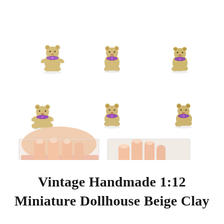[Figure (photo): Eight photos of a tiny beige clay teddy bear with purple scarf/bow, shown from multiple angles in the top two rows (six small photos on white background) and two close-up photos of fingers holding the bear and its base in the bottom row.]
Vintage Handmade 1:12 Miniature Dollhouse Beige Clay